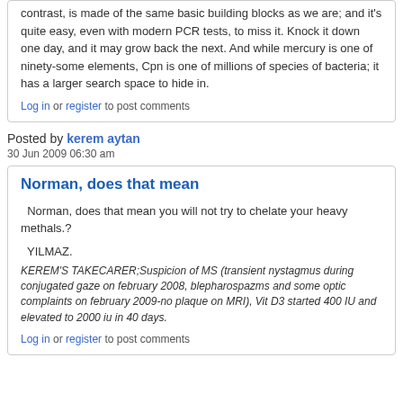contrast, is made of the same basic building blocks as we are; and it's quite easy, even with modern PCR tests, to miss it. Knock it down one day, and it may grow back the next. And while mercury is one of ninety-some elements, Cpn is one of millions of species of bacteria; it has a larger search space to hide in.
Log in or register to post comments
Posted by kerem aytan
30 Jun 2009 06:30 am
Norman, does that mean
Norman, does that mean you will not try to chelate your heavy methals.?
YILMAZ.
KEREM'S TAKECARER;Suspicion of MS (transient nystagmus during conjugated gaze on february 2008, blepharospazms and some optic complaints on february 2009-no plaque on MRI), Vit D3 started 400 IU and elevated to 2000 iu in 40 days.
Log in or register to post comments